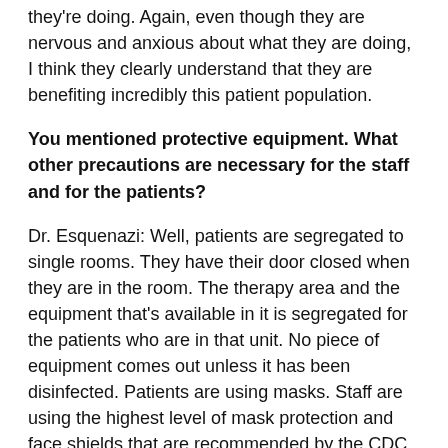they're doing. Again, even though they are nervous and anxious about what they are doing, I think they clearly understand that they are benefiting incredibly this patient population.
You mentioned protective equipment. What other precautions are necessary for the staff and for the patients?
Dr. Esquenazi: Well, patients are segregated to single rooms. They have their door closed when they are in the room. The therapy area and the equipment that's available in it is segregated for the patients who are in that unit. No piece of equipment comes out unless it has been disinfected. Patients are using masks. Staff are using the highest level of mask protection and face shields that are recommended by the CDC and the Pennsylvania Health Department and are vetted by our infectious disease and PPE program at Einstein. And in addition to that, staff has been fully trained and gets supervised